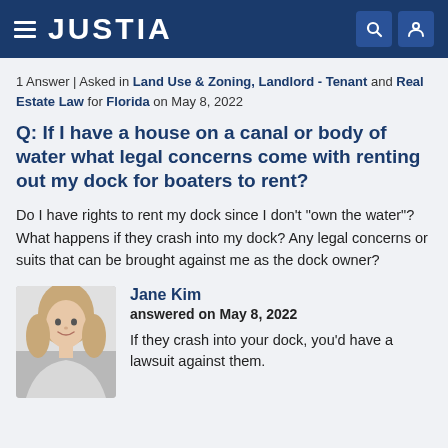JUSTIA
1 Answer | Asked in Land Use & Zoning, Landlord - Tenant and Real Estate Law for Florida on May 8, 2022
Q: If I have a house on a canal or body of water what legal concerns come with renting out my dock for boaters to rent?
Do I have rights to rent my dock since I don't "own the water"? What happens if they crash into my dock? Any legal concerns or suits that can be brought against me as the dock owner?
Jane Kim
answered on May 8, 2022
If they crash into your dock, you'd have a lawsuit against them.